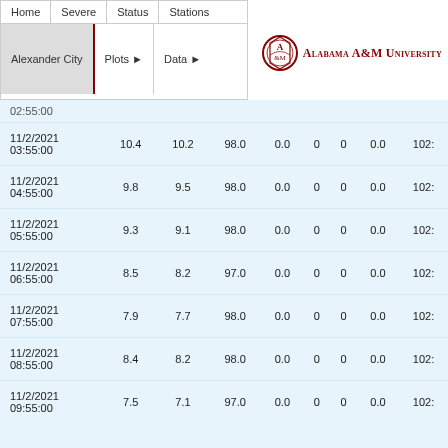Home | Severe | Status | Stations | Alexander City | Plots ▶ | Data ▶
[Figure (logo): Alabama A&M University logo with circular seal and text]
| Datetime | Col1 | Col2 | Col3 | Col4 | Col5 | Col6 | Col7 | Col8 |
| --- | --- | --- | --- | --- | --- | --- | --- | --- |
| 02:55:00 (partial) |  |  |  |  |  |  |  |  |
| 11/2/2021 03:55:00 | 10.4 | 10.2 | 98.0 | 0.0 | 0 | 0 | 0.0 | 102... |
| 11/2/2021 04:55:00 | 9.8 | 9.5 | 98.0 | 0.0 | 0 | 0 | 0.0 | 102... |
| 11/2/2021 05:55:00 | 9.3 | 9.1 | 98.0 | 0.0 | 0 | 0 | 0.0 | 102... |
| 11/2/2021 06:55:00 | 8.5 | 8.2 | 97.0 | 0.0 | 0 | 0 | 0.0 | 102... |
| 11/2/2021 07:55:00 | 7.9 | 7.7 | 98.0 | 0.0 | 0 | 0 | 0.0 | 102... |
| 11/2/2021 08:55:00 | 8.4 | 8.2 | 98.0 | 0.0 | 0 | 0 | 0.0 | 102... |
| 11/2/2021 09:55:00 | 7.5 | 7.1 | 97.0 | 0.0 | 0 | 0 | 0.0 | 102... |